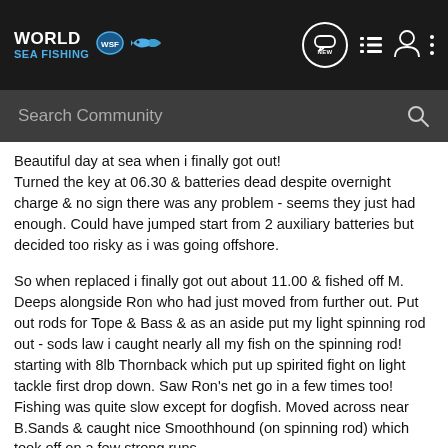World Sea Fishing (WSF) - navigation bar with logo, NEW chat bubble, list icon, user icon, dots menu
Search Community
Beautiful day at sea when i finally got out! Turned the key at 06.30 & batteries dead despite overnight charge & no sign there was any problem - seems they just had enough. Could have jumped start from 2 auxiliary batteries but decided too risky as i was going offshore.
So when replaced i finally got out about 11.00 & fished off M. Deeps alongside Ron who had just moved from further out. Put out rods for Tope & Bass & as an aside put my light spinning rod out - sods law i caught nearly all my fish on the spinning rod! starting with 8lb Thornback which put up spirited fight on light tackle first drop down. Saw Ron's net go in a few times too! Fishing was quite slow except for dogfish. Moved across near B.Sands & caught nice Smoothhound (on spinning rod) which took off on a few strong runs.